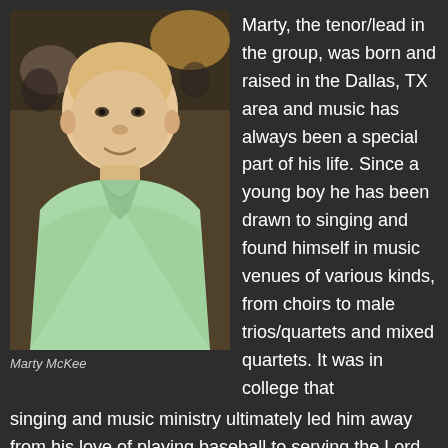[Figure (photo): Portrait photo of Marty McKee, a middle-aged bald man wearing a light green polo shirt, smiling at the camera in an indoor setting]
Marty McKee
Marty, the tenor/lead in the group, was born and raised in the Dallas, TX area and music has always been a special part of his life.  Since a young boy he has been drawn to singing and found himself in music venues of various kinds, from choirs to male trios/quartets and mixed quartets.  It was in college that singing and music ministry ultimately led him away from his love of playing baseball to serving the Lord through